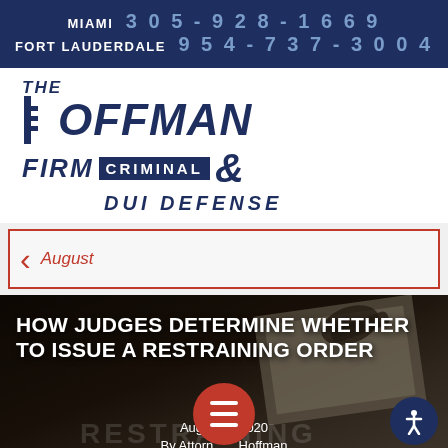MIAMI 305-928-1669
FORT LAUDERDALE 954-737-3004
[Figure (logo): The Hoffman Firm Criminal & DUI Defense logo with stylized H icon]
August
[Figure (photo): Background photo of legal documents with a gavel, overlaid with article title text]
HOW JUDGES DETERMINE WHETHER TO ISSUE A RESTRAINING ORDER
August 2020
By Attorney Hoffman